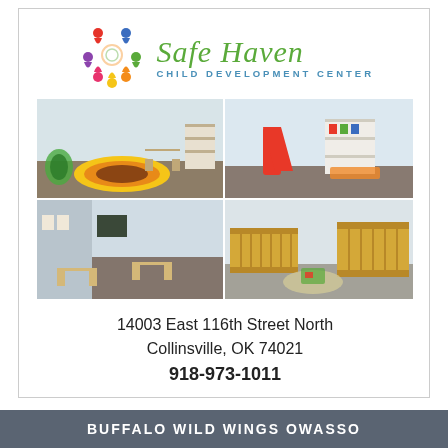[Figure (logo): Safe Haven Child Development Center logo with colorful circular people icon and green/blue text]
[Figure (photo): Four photos of Safe Haven Child Development Center classrooms and infant room showing colorful rugs, small furniture, toys, shelves, and cribs]
14003 East 116th Street North
Collinsville, OK 74021
918-973-1011
BUFFALO WILD WINGS OWASSO